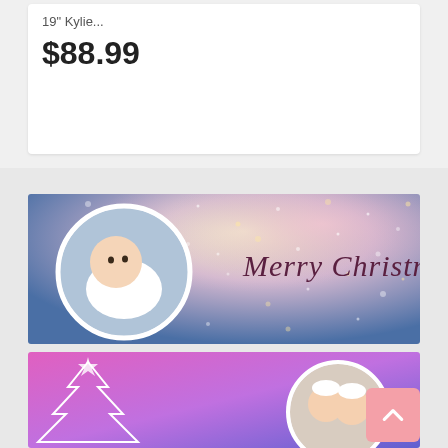19" Kylie...
$88.99
[Figure (photo): Christmas banner with blue bokeh background, circle-framed baby photo on left in white outfit, and 'Merry Christmas' text on right in dark burgundy serif font]
[Figure (photo): Second Christmas banner with pink-purple gradient background, white illustrated Christmas tree on left, and two babies in white hats in circular frame on right]